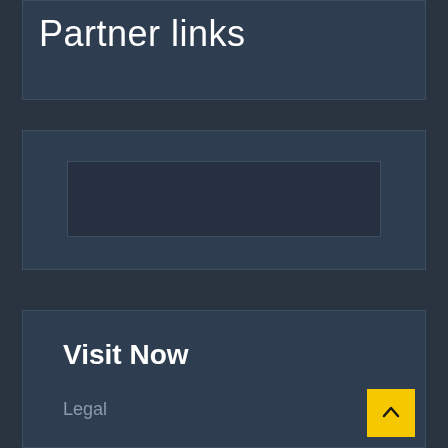Partner links
[Figure (other): Empty content area with a bordered inner rectangle placeholder]
Visit Now
Legal